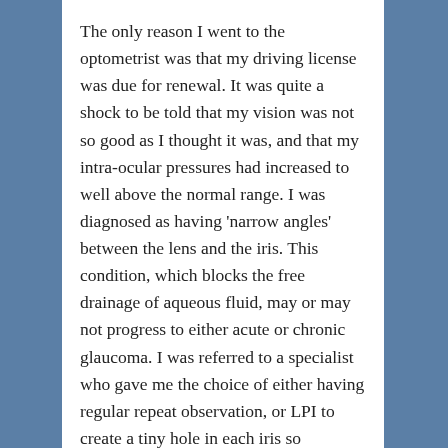The only reason I went to the optometrist was that my driving license was due for renewal. It was quite a shock to be told that my vision was not so good as I thought it was, and that my intra-ocular pressures had increased to well above the normal range. I was diagnosed as having ‘narrow angles’ between the lens and the iris. This condition, which blocks the free drainage of aqueous fluid, may or may not progress to either acute or chronic glaucoma. I was referred to a specialist who gave me the choice of either having regular repeat observation, or LPI to create a tiny hole in each iris so allowing the fluid to circulate.
The prospect of an operation, however minor, on such an important and sensitive body part as the eyes, was daunting. I was told to… [continues]